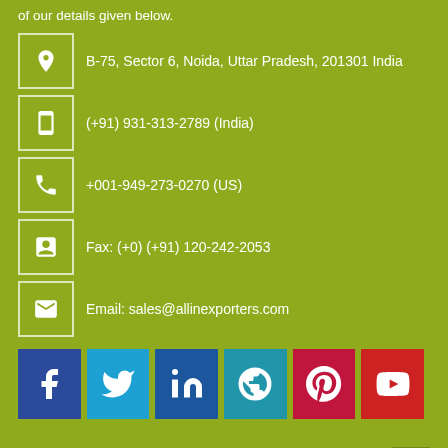of our details given below.
B-75, Sector 6, Noida, Uttar Pradesh, 201301 India
(+91) 931-313-2789 (India)
+001-949-273-0270 (US)
Fax: (+0) (+91) 120-242-2053
Email: sales@allinexporters.com
[Figure (infographic): Social media icon buttons: Facebook (blue), Twitter (light blue), LinkedIn (dark blue), WordPress (teal), Pinterest (crimson), YouTube (red)]
MORE CATEGORY
HELP CENTER
INDUSTRY WE SERVE